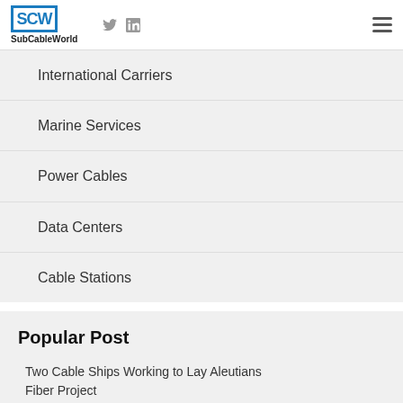SCW SubCableWorld
International Carriers
Marine Services
Power Cables
Data Centers
Cable Stations
Popular Post
Two Cable Ships Working to Lay Aleutians Fiber Project